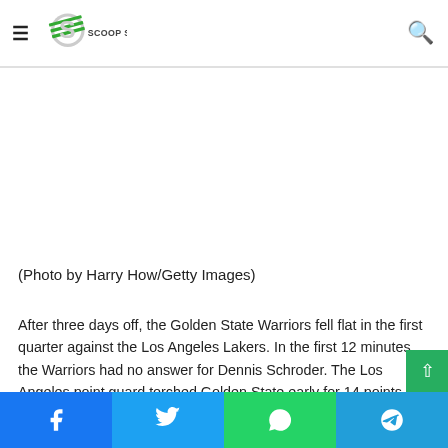Scoop Sky
[Figure (other): White image placeholder area]
(Photo by Harry How/Getty Images)
After three days off, the Golden State Warriors fell flat in the first quarter against the Los Angeles Lakers. In the first 12 minutes, the Warriors had no answer for Dennis Schroder. The Los Angeles point guard torched Golden State early for 14 points on 5-of-7 shooting from the field with a rebound, an
Facebook Twitter WhatsApp Telegram social share bar